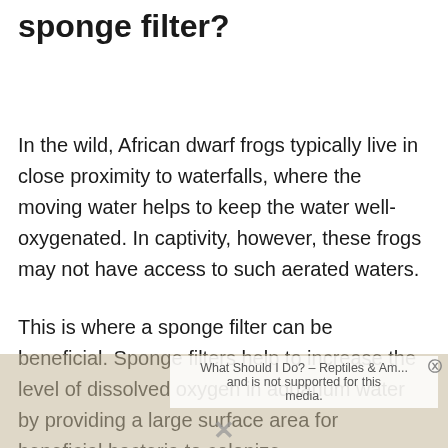sponge filter?
In the wild, African dwarf frogs typically live in close proximity to waterfalls, where the moving water helps to keep the water well-oxygenated. In captivity, however, these frogs may not have access to such aerated waters.
This is where a sponge filter can be beneficial. Sponge filters help to increase the level of dissolved oxygen in aquarium water by providing a large surface area for beneficial bacteria to colonize.
[Figure (screenshot): Partially visible overlay text reading 'What Should I Do? – Reptiles & Am...' and 'and is not supported for this media.' with an X close button and a brownish media background area at the bottom of the page.]